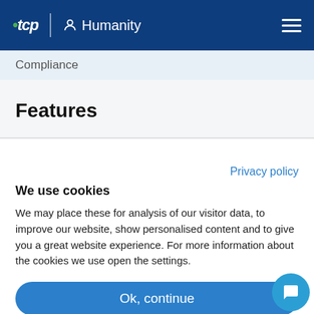tcp Humanity
Compliance
Features
Privacy policy
We use cookies
We may place these for analysis of our visitor data, to improve our website, show personalised content and to give you a great website experience. For more information about the cookies we use open the settings.
Ok, continue
Deny
No, adjust